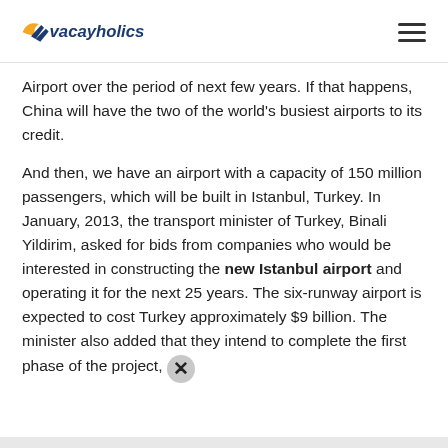Vacayholics
Airport over the period of next few years. If that happens, China will have the two of the world's busiest airports to its credit.
And then, we have an airport with a capacity of 150 million passengers, which will be built in Istanbul, Turkey. In January, 2013, the transport minister of Turkey, Binali Yildirim, asked for bids from companies who would be interested in constructing the new Istanbul airport and operating it for the next 25 years. The six-runway airport is expected to cost Turkey approximately $9 billion. The minister also added that they intend to complete the first phase of the project,